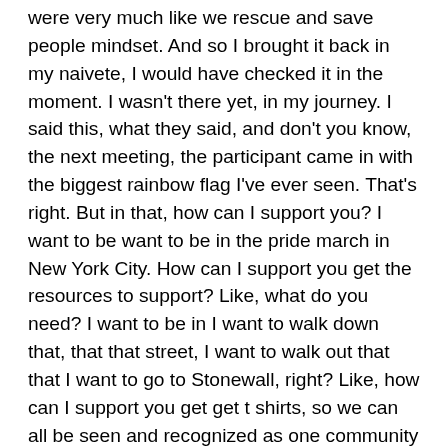were very much like we rescue and save people mindset. And so I brought it back in my naivete, I would have checked it in the moment. I wasn't there yet, in my journey. I said this, what they said, and don't you know, the next meeting, the participant came in with the biggest rainbow flag I've ever seen. That's right. But in that, how can I support you? I want to be want to be in the pride march in New York City. How can I support you get the resources to support? Like, what do you need? I want to be in I want to walk down that, that that street, I want to walk out that that I want to go to Stonewall, right? Like, how can I support you get get t shirts, so we can all be seen and recognized as one community when we walked out that and have 1000s of people? Right? Like, that's what compassion looks and sounds like and let me be very clear, I mess this up all day and all night. But it's helpful to have it's easier, I think, to to have something to live into something to orient around. And these four